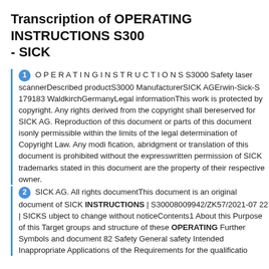Transcription of OPERATING INSTRUCTIONS S300 - SICK
1 O P E R A T I N G I N S T R U C T I O N S S3000 Safety laser scannerDescribed productS3000 ManufacturerSICK AGErwin-Sick-S 179183 WaldkirchGermanyLegal informationThis work is protected by copyright. Any rights derived from the copyright shall bereserved for SICK AG. Reproduction of this document or parts of this document isonly permissible within the limits of the legal determination of Copyright Law. Any modi fication, abridgment or translation of this document is prohibited without the expresswritten permission of SICK trademarks stated in this document are the property of their respective owner.
2 SICK AG. All rights documentThis document is an original document of SICK INSTRUCTIONS | S30008009942/ZK57/2021-07 22 | SICKS ubject to change without noticeContents1 About this Purpose of this Target groups and structure of these OPERATING Further Symbols and document 82 Safety General safety Intended Inappropriate Applications of the Requirements for the qualification